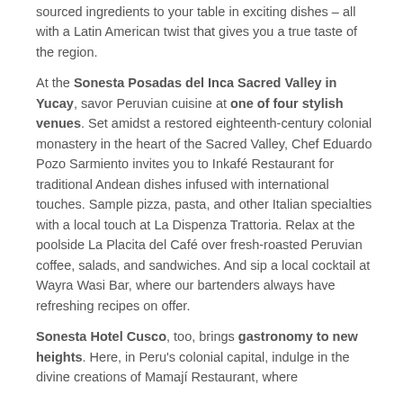sourced ingredients to your table in exciting dishes – all with a Latin American twist that gives you a true taste of the region.
At the Sonesta Posadas del Inca Sacred Valley in Yucay, savor Peruvian cuisine at one of four stylish venues. Set amidst a restored eighteenth-century colonial monastery in the heart of the Sacred Valley, Chef Eduardo Pozo Sarmiento invites you to Inkafé Restaurant for traditional Andean dishes infused with international touches. Sample pizza, pasta, and other Italian specialties with a local touch at La Dispenza Trattoria. Relax at the poolside La Placita del Café over fresh-roasted Peruvian coffee, salads, and sandwiches. And sip a local cocktail at Wayra Wasi Bar, where our bartenders always have refreshing recipes on offer.
Sonesta Hotel Cusco, too, brings gastronomy to new heights. Here, in Peru's colonial capital, indulge in the divine creations of Mamají Restaurant, where